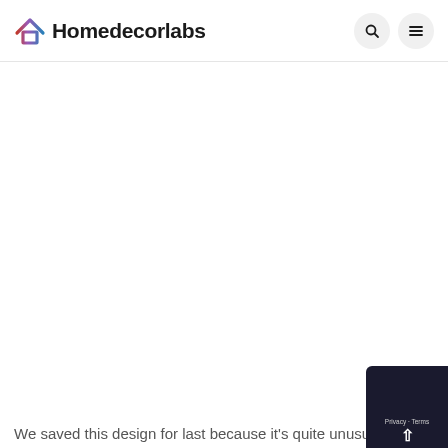Homedecorlabs
We saved this design for last because it's quite unusual